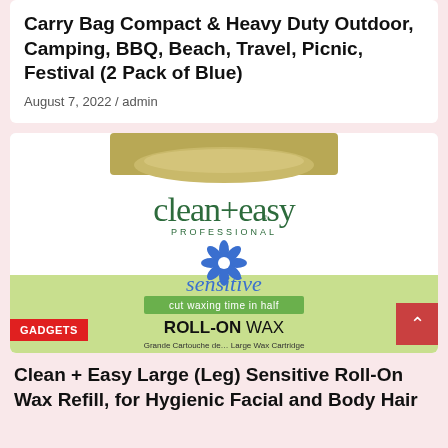Carry Bag Compact & Heavy Duty Outdoor, Camping, BBQ, Beach, Travel, Picnic, Festival (2 Pack of Blue)
August 7, 2022 / admin
[Figure (photo): Clean+Easy Professional Sensitive Roll-On Wax product box showing the brand name, a blue flower logo, and text: sensitive, cut waxing time in half, ROLL-ON WAX, Large Wax Cartridge]
Clean + Easy Large (Leg) Sensitive Roll-On Wax Refill, for Hygienic Facial and Body Hair